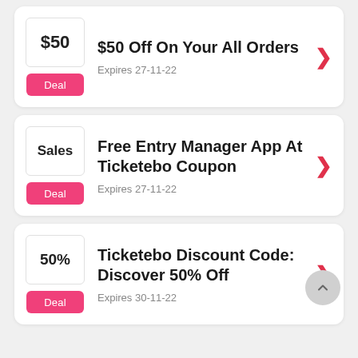$50 Off On Your All Orders — Expires 27-11-22 — Deal
Free Entry Manager App At Ticketebo Coupon — Expires 27-11-22 — Deal
Ticketebo Discount Code: Discover 50% Off — Expires 30-11-22 — Deal